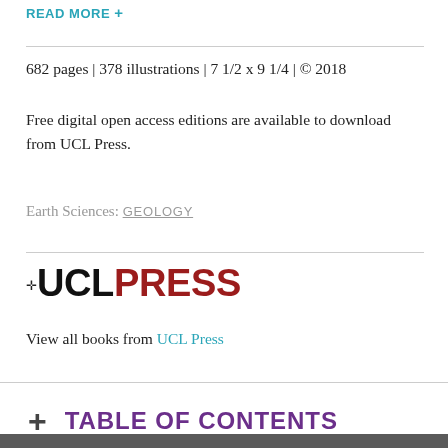READ MORE +
682 pages | 378 illustrations | 7 1/2 x 9 1/4 | © 2018
Free digital open access editions are available to download from UCL Press.
Earth Sciences: GEOLOGY
[Figure (logo): UCL Press logo with dagger symbol, UCL in black bold and PRESS in dark red bold]
View all books from UCL Press
+ TABLE OF CONTENTS